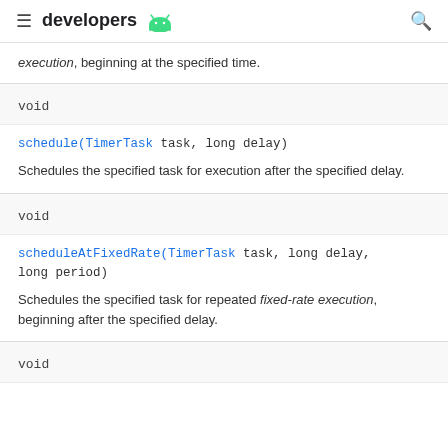developers
execution, beginning at the specified time.
void
schedule(TimerTask task, long delay)
Schedules the specified task for execution after the specified delay.
void
scheduleAtFixedRate(TimerTask task, long delay, long period)
Schedules the specified task for repeated fixed-rate execution, beginning after the specified delay.
void